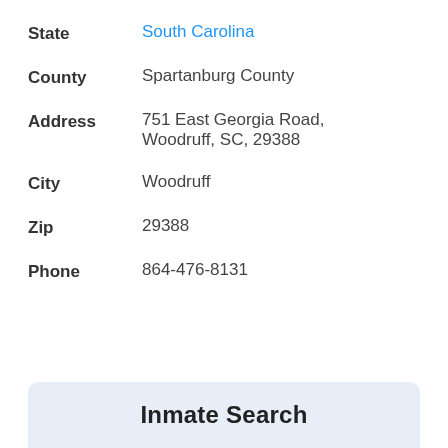State: South Carolina
County: Spartanburg County
Address: 751 East Georgia Road, Woodruff, SC, 29388
City: Woodruff
Zip: 29388
Phone: 864-476-8131
Inmate Search